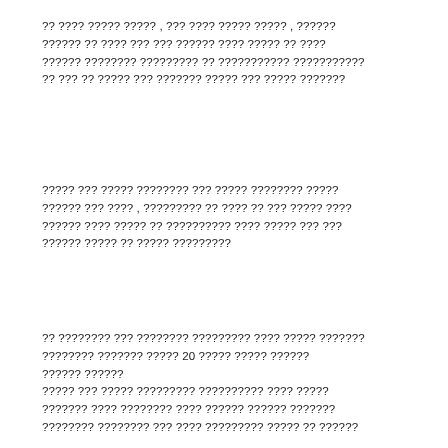?? ???? ????? ????? , ??? ???? ????? ????? , ?????? ?????? ?? ???? ??? ??? ?????? ???? ????? ?? ???? ?????? ???????? ????????? ?? ??????????? ??????????? ?? ??? ?? ????? ??? ??????? ????? ??? ????? ???????
????? ??? ????? ???????? ??? ????? ???????? ????? ?????? ??? ???? , ????????? ?? ???? ?? ??? ????? ???? ?????? ???? ????? ?? ?????????? ???? ????? ??? ??? ?????? ????? ?? ????? ?????????
?? ???????? ??? ???????? ????????? ???? ????? ??????? ???????? ??????? ????? 20 ????? ????? ?????? ?????? ?????? ????? ??? ????? ????????? ?????????? ???? ????? ??????? ???? ???????? ???? ?????? ?????? ??????? ???????? ???????? ??? ???? ????????? ????? ?? ??????